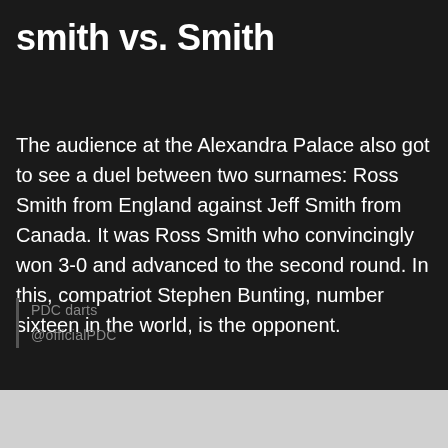smith vs. Smith
The audience at the Alexandra Palace also got to see a duel between two surnames: Ross Smith from England against Jeff Smith from Canada. It was Ross Smith who convincingly won 3-0 and advanced to the second round. In this, compatriot Stephen Bunting, number sixteen in the world, is the opponent.
PDC darts
@officialPDC